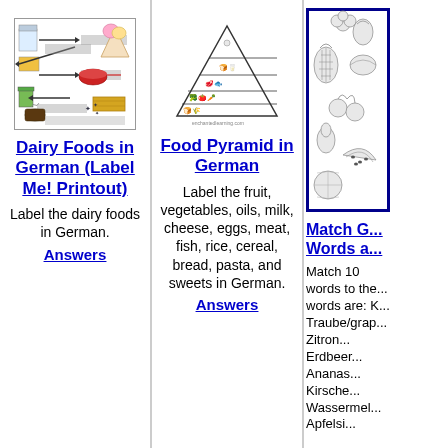[Figure (illustration): Dairy foods label me printout showing dairy items with arrows and German labels]
Dairy Foods in German (Label Me! Printout)
Label the dairy foods in German.
Answers
[Figure (illustration): Food pyramid diagram with horizontal lines for labeling food groups]
Food Pyramid in German
Label the fruit, vegetables, oils, milk, cheese, eggs, meat, fish, rice, cereal, bread, pasta, and sweets in German.
Answers
[Figure (illustration): Match German words to pictures of fruits - partial column showing various fruits]
Match G... Words a...
Match 10 words to the... words are: K... Traube/grape... Zitron... Erdbeer... Ananas... Kirsche... Wassermel... Apfelsi...